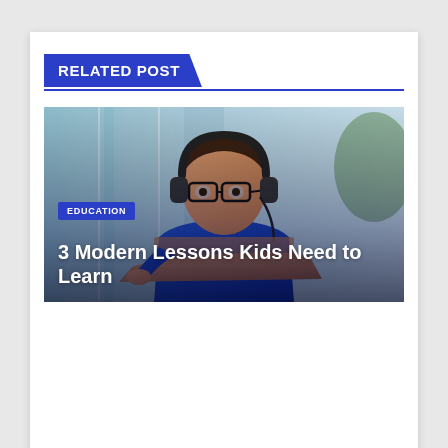RELATED POST
[Figure (photo): A young boy wearing headphones and glasses, working on a laptop, with text overlay showing EDUCATION category badge and article title '3 Modern Lessons Kids Need to Learn']
3 Modern Lessons Kids Need to Learn